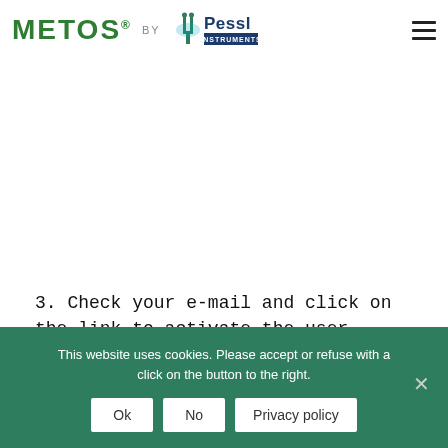[Figure (logo): METOS by Pessl Instruments logo in header, with hamburger menu icon on the right]
3. Check your e-mail and click on the link to activate the user account you created.
This website uses cookies. Please accept or refuse with a click on the button to the right.
Ok | No | Privacy policy